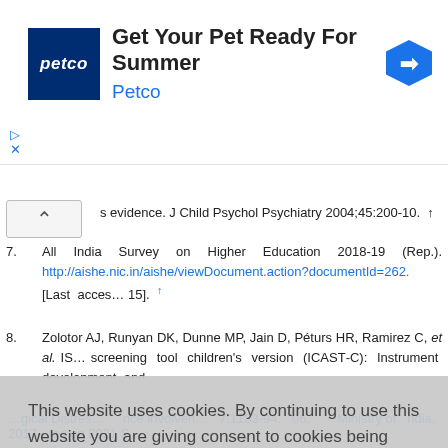[Figure (other): Petco advertisement banner: 'Get Your Pet Ready For Summer' with Petco logo and blue diamond navigation arrow icon]
7. All India Survey on Higher Education 2018-19 (Rep.). http://aishe.nic.in/aishe/viewDocument.action?documentId=262. [Last accessed on 2021 S 15].
8. Zolotor AJ, Runyan DK, Dunne MP, Jain D, Péturs HR, Ramirez C, et al. ISPCAN Child Abuse Screening tool children's version (ICAST-C): Instrument development and cross-national pilot testing... gical Distress... nce involvement... 7:1183-94. ... 06. ... Ministry of ... ndia, 2017-... ed on 2021 S
This website uses cookies. By continuing to use this website you are giving consent to cookies being used. For information on cookies and how you can disable them visit our Privacy and Cookie Policy.